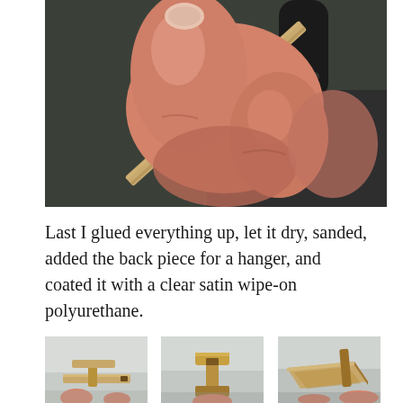[Figure (photo): Close-up photo of fingers holding a small wooden stick/piece, with a dark nail file or sanding tool visible in the background on a dark surface.]
Last I glued everything up, let it dry, sanded, added the back piece for a hanger, and coated it with a clear satin wipe-on polyurethane.
[Figure (photo): Three side-by-side photos showing a small wooden craft/object (appears to be a miniature wooden hanger or holder) from different angles, held in front of a light gray background.]